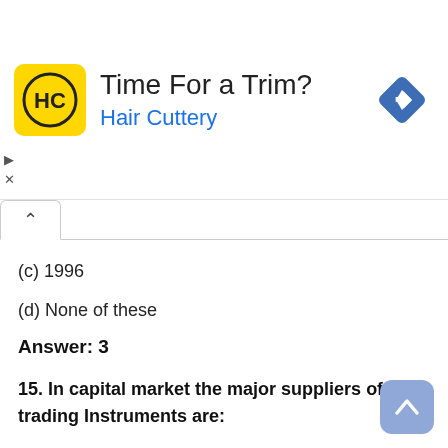[Figure (other): Hair Cuttery advertisement banner with yellow logo showing HC initials, text 'Time For a Trim?' and 'Hair Cuttery' in blue, and a blue navigation diamond icon on the right]
(c) 1996
(d) None of these
Answer: 3
15. In capital market the major suppliers of trading Instruments are:
(1) Government and corporations